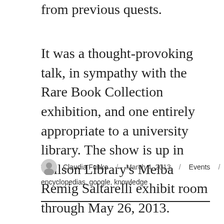from previous quests.
It was a thought-provoking talk, in sympathy with the Rare Book Collection exhibition, and one entirely appropriate to a university library. The show is up in Wilson Library's Melba Remig Saltarelli exhibit room through May 26, 2013.
Claudia Funke / March 4, 2013 / Events / encyclopedias, google, knowledge